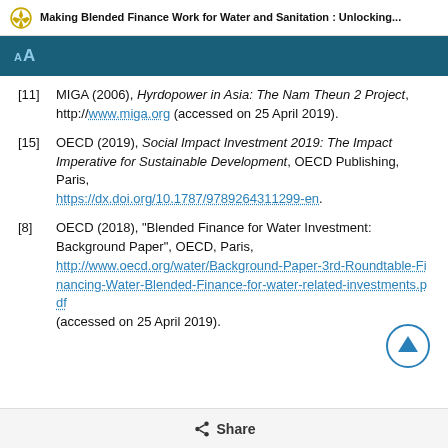Making Blended Finance Work for Water and Sanitation : Unlocking...
AA
[11] MIGA (2006), Hyrdopower in Asia: The Nam Theun 2 Project, http://www.miga.org (accessed on 25 April 2019).
[15] OECD (2019), Social Impact Investment 2019: The Impact Imperative for Sustainable Development, OECD Publishing, Paris, https://dx.doi.org/10.1787/9789264311299-en.
[8] OECD (2018), "Blended Finance for Water Investment: Background Paper", OECD, Paris, http://www.oecd.org/water/Background-Paper-3rd-Roundtable-Financing-Water-Blended-Finance-for-water-related-investments.pdf (accessed on 25 April 2019).
Share